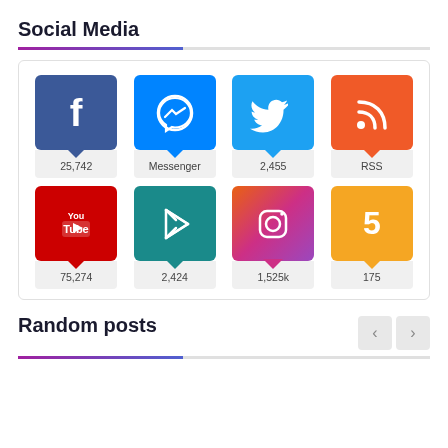Social Media
[Figure (infographic): Social media icons grid showing 8 platforms: Facebook (25,742), Messenger, Twitter (2,455), RSS, YouTube (75,274), Google Play (2,424), Instagram (1,525k), and a 5-branded platform (175)]
Random posts